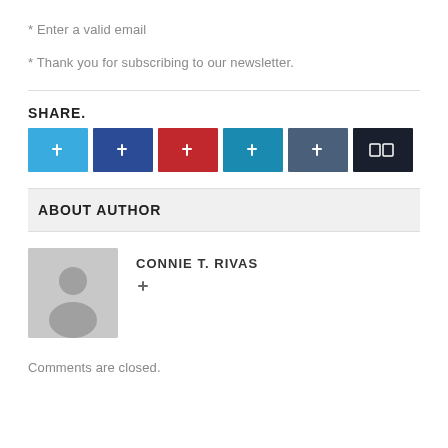* Enter a valid email
* Thank you for subscribing to our newsletter.
SHARE.
[Figure (other): Row of six social share buttons: Twitter (blue), Facebook (dark blue), Pinterest (red), LinkedIn (teal), Tumblr (slate blue), More/share (very dark navy) with icon placeholders]
ABOUT AUTHOR
[Figure (photo): Author avatar placeholder — gray square with silhouette icon of a person]
CONNIE T. RIVAS
Comments are closed.